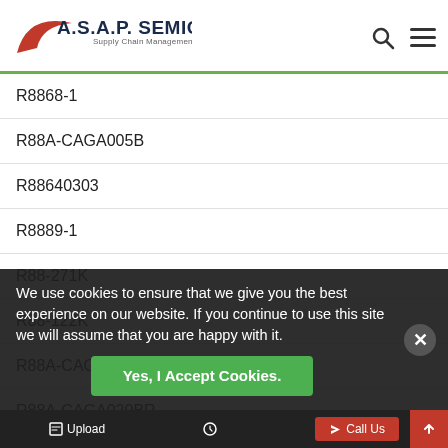A.S.A.P. SEMICONDUCTOR Supply Chain Management Worldwide
R8868-1
R88A-CAGA005B
R88640303
R8889-1
R88-271K
R88-122K
R88A-CAGA010SR
R88A-CAGA020BR
R88A-CAGA015B
R8885J
R8B8
We use cookies to ensure that we give you the best experience on our website. If you continue to use this site we will assume that you are happy with it.
Yes, I Accept Cookies.